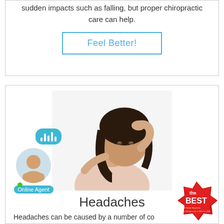sudden impacts such as falling, but proper chiropractic care can help.
Feel Better!
[Figure (photo): Woman holding her head and neck in pain, suggesting a headache or neck pain.]
Headaches
Headaches can be caused by a number of co...
[Figure (photo): Online Agent chat widget with avatar of a young man smiling and a speech bubble with audio bars.]
[Figure (logo): The Best award badge in red.]